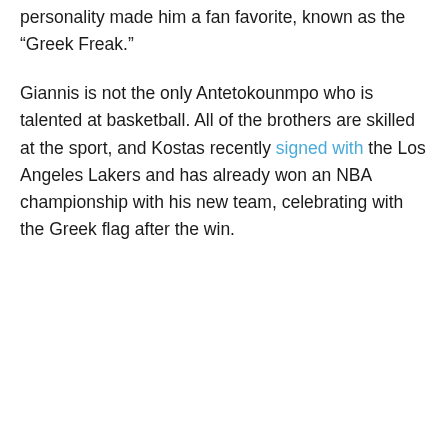personality made him a fan favorite, known as the “Greek Freak.”
Giannis is not the only Antetokounmpo who is talented at basketball. All of the brothers are skilled at the sport, and Kostas recently signed with the Los Angeles Lakers and has already won an NBA championship with his new team, celebrating with the Greek flag after the win.